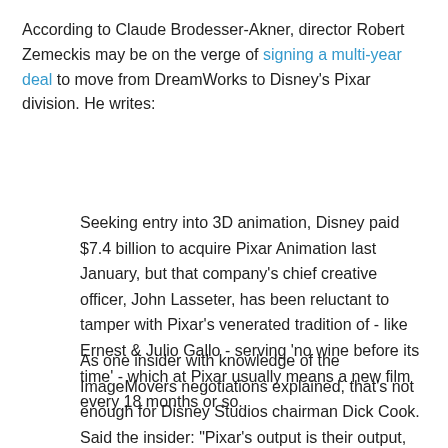According to Claude Brodesser-Akner, director Robert Zemeckis may be on the verge of signing a multi-year deal to move from DreamWorks to Disney's Pixar division. He writes:
Seeking entry into 3D animation, Disney paid $7.4 billion to acquire Pixar Animation last January, but that company's chief creative officer, John Lasseter, has been reluctant to tamper with Pixar's venerated tradition of - like Ernest & Julio Gallo - serving 'no wine before its time' - which at Pixar usually means a new film every 18 months or so.
As one insider with knowledge of the ImageMovers negotiations explained, that's not enough for Disney Studios chairman Dick Cook. Said the insider: "Pixar's output is their output, and they feel that the only way they can keep the